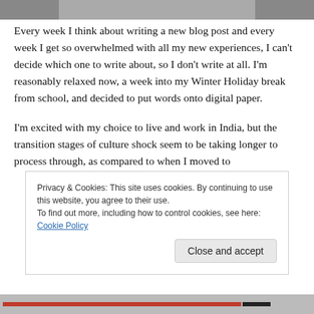[Figure (photo): Partial photo visible at top of page, cropped]
Every week I think about writing a new blog post and every week I get so overwhelmed with all my new experiences, I can't decide which one to write about, so I don't write at all. I'm reasonably relaxed now, a week into my Winter Holiday break from school, and decided to put words onto digital paper.
I'm excited with my choice to live and work in India, but the transition stages of culture shock seem to be taking longer to process through, as compared to when I moved to
Privacy & Cookies: This site uses cookies. By continuing to use this website, you agree to their use.
To find out more, including how to control cookies, see here: Cookie Policy
Close and accept